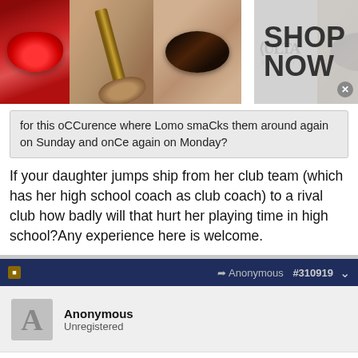[Figure (photo): ULTA Beauty advertisement banner showing lips with red lipstick, makeup brush, smoky eye makeup, ULTA Beauty logo, close-up eye, and 'SHOP NOW' text]
for this oCCurence where Lomo smaCks them around again on Sunday and onCe again on Monday?
If your daughter jumps ship from her club team (which has her high school coach as club coach) to a rival club how badly will that hurt her playing time in high school?Any experience here is welcome.
Anonymous #310919
Anonymous
Unregistered
Without those tired players Janelli loses 6-0 clown.
[Figure (photo): BELK advertisement showing denim clothing with tagline 'Denim all day.' and URL www.belk.com]